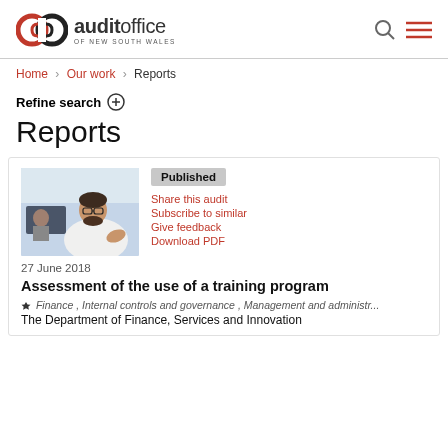[Figure (logo): Audit Office of New South Wales logo with infinity-like red and black icon]
Home > Our work > Reports
Refine search ⊕
Reports
[Figure (photo): Man in white shirt with glasses gesturing during a meeting]
Published
Share this audit
Subscribe to similar
Give feedback
Download PDF
27 June 2018
Assessment of the use of a training program
Finance , Internal controls and governance , Management and administr...
The Department of Finance, Services and Innovation